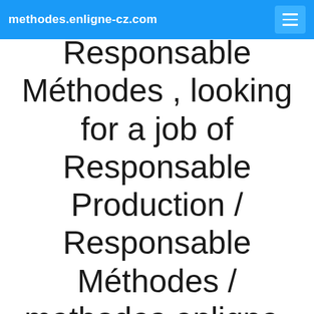methodes.enligne-cz.com
Responsable Méthodes , looking for a job of Responsable Production / Responsable Méthodes / methodes.enligne-cz.com